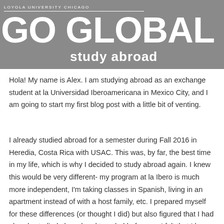LOYOLA UNIVERSITY CHICAGO
GO GLOBAL study abroad
Hola! My name is Alex. I am studying abroad as an exchange student at la Universidad Iberoamericana in Mexico City, and I am going to start my first blog post with a little bit of venting.
I already studied abroad for a semester during Fall 2016 in Heredia, Costa Rica with USAC. This was, by far, the best time in my life, which is why I decided to study abroad again. I knew this would be very different- my program at la Ibero is much more independent, I'm taking classes in Spanish, living in an apartment instead of with a host family, etc. I prepared myself for these differences (or thought I did) but also figured that I had already studied abroad and traveled before, so I felt that I knew at least the basics of how to live and travel abroad.